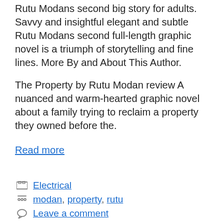Rutu Modans second big story for adults. Savvy and insightful elegant and subtle Rutu Modans second full-length graphic novel is a triumph of storytelling and fine lines. More By and About This Author.
The Property by Rutu Modan review A nuanced and warm-hearted graphic novel about a family trying to reclaim a property they owned before the.
Read more
Electrical
modan, property, rutu
Leave a comment